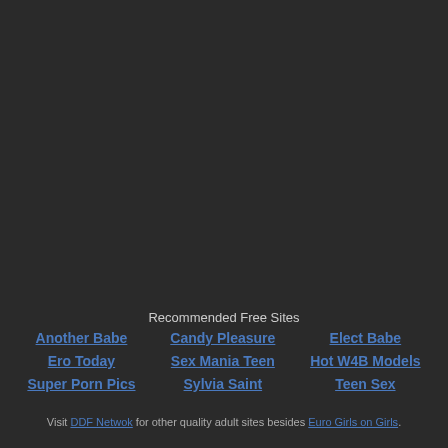Recommended Free Sites
Another Babe
Ero Today
Super Porn Pics
Candy Pleasure
Sex Mania Teen
Sylvia Saint
Elect Babe
Hot W4B Models
Teen Sex
Visit DDF Netwok for other quality adult sites besides Euro Girls on Girls.